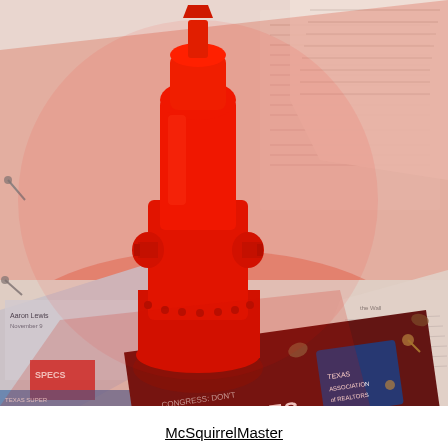[Figure (photo): A red fire hydrant freshly painted, sitting on spread-out newspapers and covered with red plastic sheeting. In the lower portion of the image, a dark reddish-brown newspaper section with text reading 'CONGRESS: DON'T RAISE TAXES ON TEXAS' is visible, along with a Texas Association of Realtors logo badge.]
McSquirrelMaster